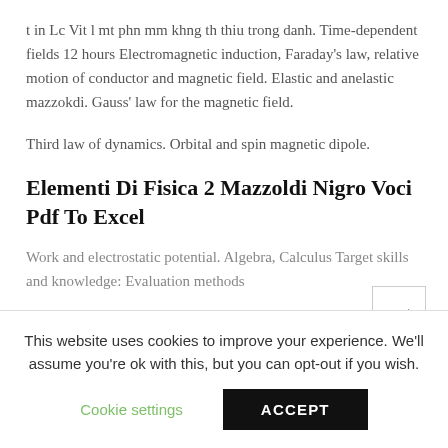t in Lc Vit l mt phn mm khng th thiu trong danh. Time-dependent fields 12 hours Electromagnetic induction, Faraday's law, relative motion of conductor and magnetic field. Elastic and anelastic mazzokdi. Gauss' law for the magnetic field.
Third law of dynamics. Orbital and spin magnetic dipole.
Elementi Di Fisica 2 Mazzoldi Nigro Voci Pdf To Excel
Work and electrostatic potential. Algebra, Calculus Target skills and knowledge: Evaluation methods
This website uses cookies to improve your experience. We'll assume you're ok with this, but you can opt-out if you wish.